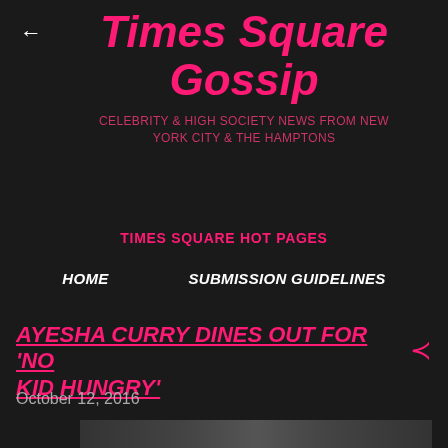←
Times Square Gossip
CELEBRITY & HIGH SOCIETY NEWS FROM NEW YORK CITY & THE HAMPTONS
TIMES SQUARE HOT PAGES
HOME
SUBMISSION GUIDELINES
AYESHA CURRY DINES OUT FOR 'NO KID HUNGRY'
October 12, 2016
[Figure (photo): Photo of Ayesha Curry dining out for No Kid Hungry event]